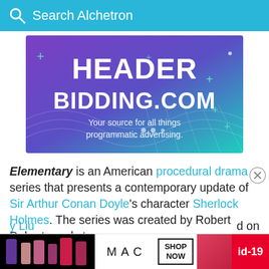Search Alchetron
[Figure (illustration): Advertisement banner for HeaderBidding.com with purple-to-teal gradient background, plus signs, dot decorations, and a grid wave pattern. Text: HEADER BIDDING.COM — Your source for all things programmatic advertising.]
Elementary is an American procedural drama series that presents a contemporary update of Sir Arthur Conan Doyle's character Sherlock Holmes. The series was created by Robert Doherty and stars [Lucy Liu]
[Figure (advertisement): MAC cosmetics advertisement banner showing lipsticks on the left, MAC logo, and SHOP NOW button on the right with a red id-19 tag.]